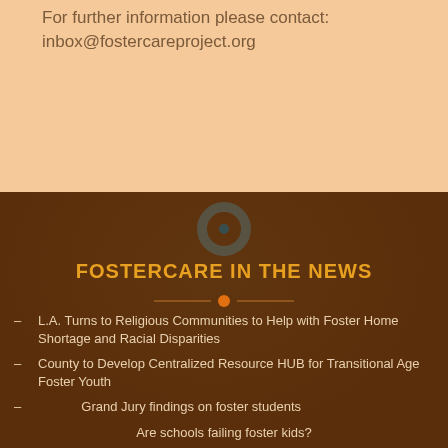For further information please contact:
inbox@fostercareproject.org
FOSTERCARE IN THE NEWS
– L.A. Turns to Religious Communities to Help with Foster Home Shortage and Racial Disparities
– County to Develop Centralized Resource HUB for Transitional Age Foster Youth
– Grand Jury findings on foster students
Are schools failing foster kids?